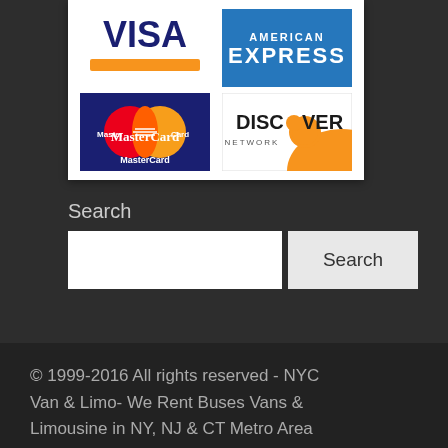[Figure (logo): Credit card logos: Visa, American Express, MasterCard, Discover Network in a 2x2 grid]
Search
[Figure (other): Search input field with Search button]
© 1999-2016 All rights reserved - NYC Van & Limo- We Rent Buses Vans & Limousine in NY, NJ & CT Metro Area (Brooklyn, Queens, The Bronx, Staten Island, Manhattan NYC, Long-Island) & all Major